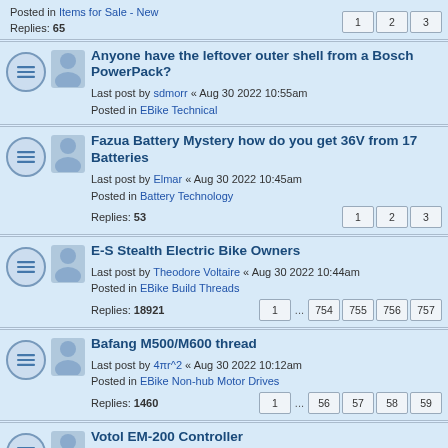Posted in Items for Sale - New
Replies: 65
Pages: 1 2 3
Anyone have the leftover outer shell from a Bosch PowerPack?
Last post by sdmorr « Aug 30 2022 10:55am
Posted in EBike Technical
Fazua Battery Mystery how do you get 36V from 17 Batteries
Last post by Elmar « Aug 30 2022 10:45am
Posted in Battery Technology
Replies: 53
Pages: 1 2 3
E-S Stealth Electric Bike Owners
Last post by Theodore Voltaire « Aug 30 2022 10:44am
Posted in EBike Build Threads
Replies: 18921
Pages: 1 ... 754 755 756 757
Bafang M500/M600 thread
Last post by 4πr^2 « Aug 30 2022 10:12am
Posted in EBike Non-hub Motor Drives
Replies: 1460
Pages: 1 ... 56 57 58 59
Votol EM-200 Controller
Last post by newman64 « Aug 30 2022 9:52am
Posted in E-Vehicles General Discussion
Replies: 108
Pages: 1 2 3 4 5